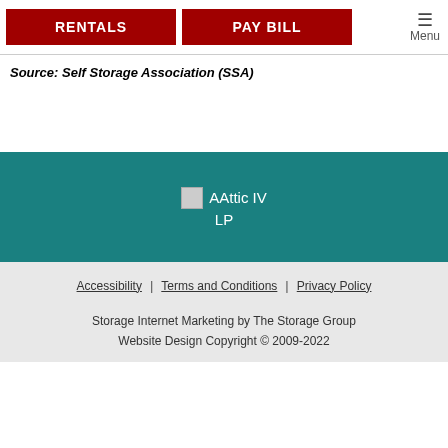RENTALS | PAY BILL | Menu
Source: Self Storage Association (SSA)
[Figure (logo): AAttic IV LP logo placeholder in teal footer section]
Accessibility | Terms and Conditions | Privacy Policy
Storage Internet Marketing by The Storage Group
Website Design Copyright © 2009-2022